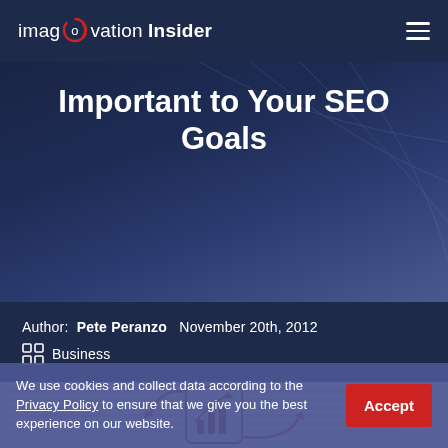imaginovation Insider
Important to Your SEO Goals
Author: Pete Peranzo  November 20th, 2012
Business
[Figure (illustration): SEO strategy illustration with analysis chart icon, arrows, and related icons]
We use cookies and collect data according to the Privacy Policy to ensure that we give you the best experience on our website.